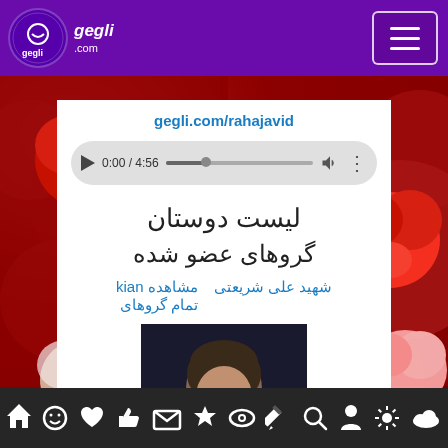[Figure (screenshot): Gegli.com mobile website header with purple background, logo on left, hamburger menu on right]
gegli.com/rahajavid
[Figure (screenshot): Audio player control bar showing 0:00 / 4:56 with play button, progress bar, volume and more icons]
لیست دوستان
گروهای عضو شده
مشاهده kian   شهید علی شریعتی
تمام گروهای
[Figure (photo): Portrait photograph of a man (Ali Shariati) with book/text overlay]
[Figure (screenshot): Bottom navigation bar with icons: home, smiley, heart, thumbs-up, envelope, star, eye, pencil, search, person, sun/burst, cloud]